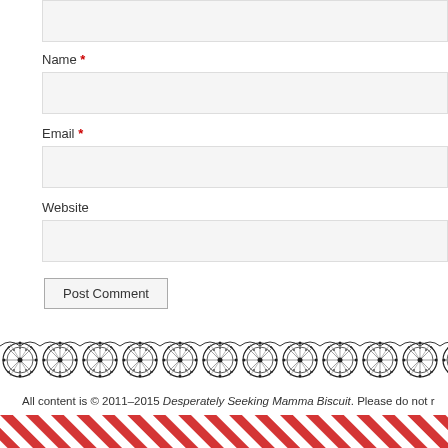[Figure (screenshot): Top comment text area input box (partially visible at top of page)]
Name *
[Figure (screenshot): Name input field - empty text box with light gray background]
Email *
[Figure (screenshot): Email input field - empty text box with light gray background]
Website
[Figure (screenshot): Website input field - empty text box with light gray background]
[Figure (screenshot): Post Comment button]
[Figure (illustration): Decorative lace border divider - black scalloped lace pattern across full width]
All content is © 2011–2015 Desperately Seeking Mamma Biscuit. Please do not r
[Figure (illustration): Red and white diagonal candy-stripe pattern bar at bottom of page]